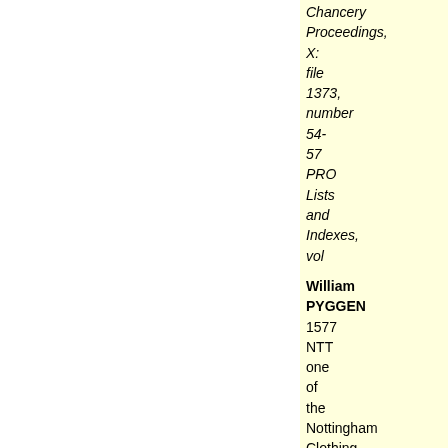Chancery Proceedings, X: file 1373, number 54-57 PRO Lists and Indexes, vol 55, p. 81
William PYGGEN 1577 NTT one of the Nottingham Clothing 1577-1578 (see